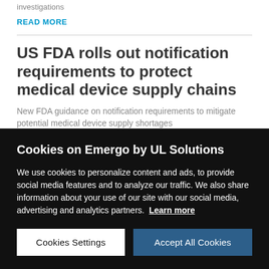investigations
READ MORE
US FDA rolls out notification requirements to protect medical device supply chains
New FDA guidance on notification requirements to mitigate potential medical device supply shortages
Cookies on Emergo by UL Solutions
We use cookies to personalize content and ads, to provide social media features and to analyze our traffic. We also share information about your use of our site with our social media, advertising and analytics partners. Learn more
Cookies Settings
Accept All Cookies